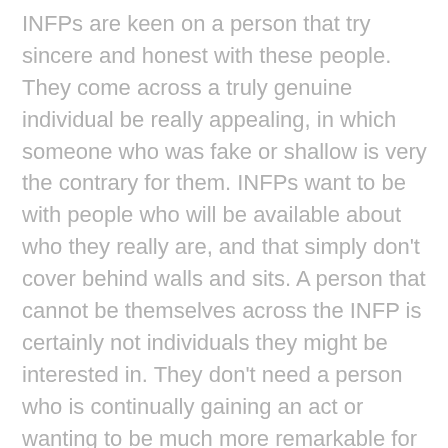INFPs are keen on a person that try sincere and honest with these people. They come across a truly genuine individual be really appealing, in which someone who was fake or shallow is very the contrary for them. INFPs want to be with people who will be available about who they really are, and that simply don't cover behind walls and sits. A person that cannot be themselves across the INFP is certainly not individuals they might be interested in. They don't need a person who is continually gaining an act or wanting to be much more remarkable for all around all of them. Somebody who panders or attempts to make people like them, frequently seems entirely unappealing into INFP.
About interactions and intimate partners the INFP wants somebody who is capable of listening to all of